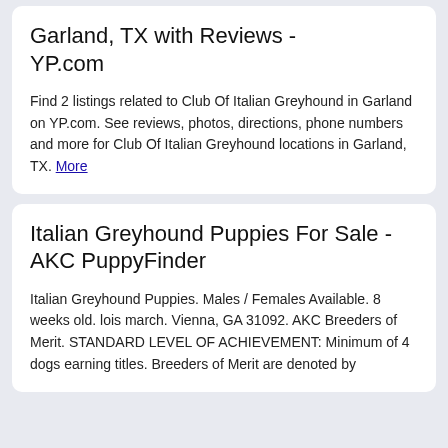Garland, TX with Reviews - YP.com
Find 2 listings related to Club Of Italian Greyhound in Garland on YP.com. See reviews, photos, directions, phone numbers and more for Club Of Italian Greyhound locations in Garland, TX. More
Italian Greyhound Puppies For Sale - AKC PuppyFinder
Italian Greyhound Puppies. Males / Females Available. 8 weeks old. lois march. Vienna, GA 31092. AKC Breeders of Merit. STANDARD LEVEL OF ACHIEVEMENT: Minimum of 4 dogs earning titles. Breeders of Merit are denoted by